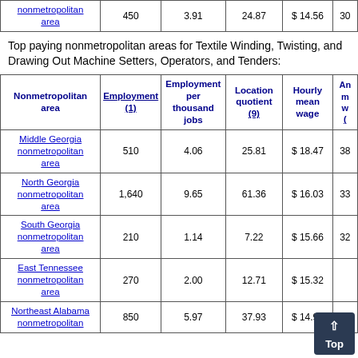| Nonmetropolitan area | Employment (1) | Employment per thousand jobs | Location quotient (9) | Hourly mean wage | An... |
| --- | --- | --- | --- | --- | --- |
| nonmetropolitan area | 450 | 3.91 | 24.87 | $14.56 | 30 |
| Middle Georgia nonmetropolitan area | 510 | 4.06 | 25.81 | $18.47 | 38 |
| North Georgia nonmetropolitan area | 1,640 | 9.65 | 61.36 | $16.03 | 33 |
| South Georgia nonmetropolitan area | 210 | 1.14 | 7.22 | $15.66 | 32 |
| East Tennessee nonmetropolitan area | 270 | 2.00 | 12.71 | $15.32 |  |
| Northeast Alabama nonmetropolitan | 850 | 5.97 | 37.93 | $14.99 |  |
Top paying nonmetropolitan areas for Textile Winding, Twisting, and Drawing Out Machine Setters, Operators, and Tenders: